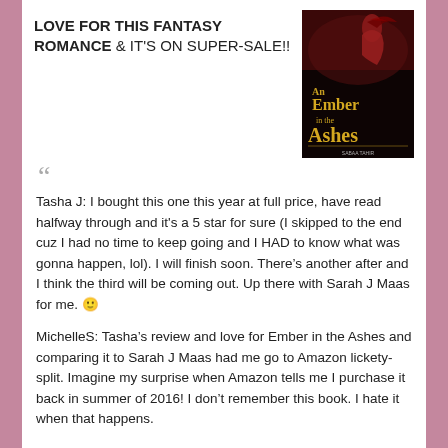LOVE FOR THIS FANTASY ROMANCE & IT'S ON SUPER-SALE!!
[Figure (illustration): Book cover of 'An Ember in the Ashes' showing a woman in red with the title in gold letters on a dark background]
Tasha J: I bought this one this year at full price, have read halfway through and it's a 5 star for sure (I skipped to the end cuz I had no time to keep going and I HAD to know what was gonna happen, lol). I will finish soon. There's another after and I think the third will be coming out. Up there with Sarah J Maas for me. 🙂
MichelleS: Tasha's review and love for Ember in the Ashes and comparing it to Sarah J Maas had me go to Amazon lickety-split. Imagine my surprise when Amazon tells me I purchase it back in summer of 2016! I don't remember this book. I hate it when that happens.